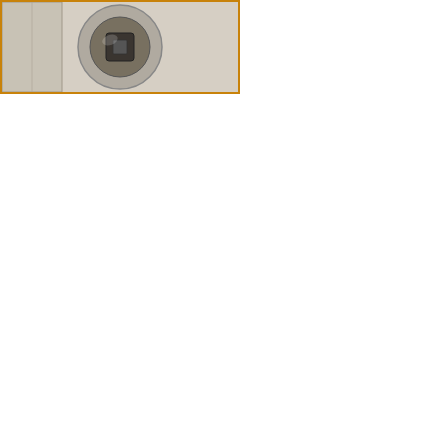[Figure (illustration): Close-up illustration of a radiator bleed key socket fitting over a square bleed screw]
square end fits perfectly. A clearance hole in the square section of the key ensures the key does not damage the square-headed bleed screw in the middle of the plug.
[Figure (illustration): Illustration of an adjustable wrench gripping a hexagonal brass radiator bleed plug on a radiator]
Many modern radiator bleed plugs and blanking plugs are shaped like hexagons. You do not need a radiator key to fit and remove these – you